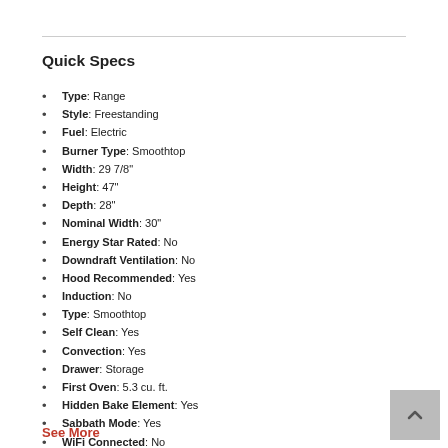Quick Specs
Type: Range
Style: Freestanding
Fuel: Electric
Burner Type: Smoothtop
Width: 29 7/8"
Height: 47"
Depth: 28"
Nominal Width: 30"
Energy Star Rated: No
Downdraft Ventilation: No
Hood Recommended: Yes
Induction: No
Type: Smoothtop
Self Clean: Yes
Convection: Yes
Drawer: Storage
First Oven: 5.3 cu. ft.
Hidden Bake Element: Yes
Sabbath Mode: Yes
WiFi Connected: No
See More